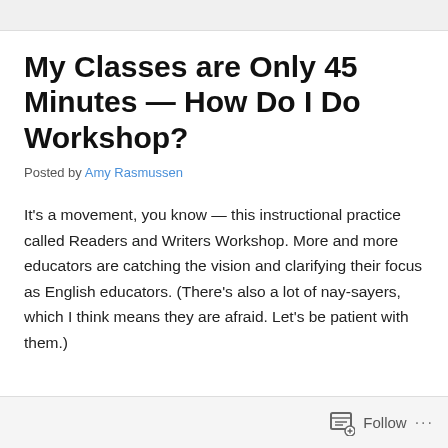My Classes are Only 45 Minutes — How Do I Do Workshop?
Posted by Amy Rasmussen
It's a movement, you know — this instructional practice called Readers and Writers Workshop. More and more educators are catching the vision and clarifying their focus as English educators. (There's also a lot of nay-sayers, which I think means they are afraid. Let's be patient with them.)
Follow